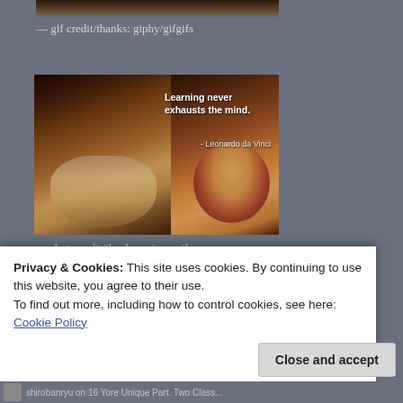[Figure (photo): Bottom edge of a nighttime city/scene image, cropped at top of page]
— gif credit/thanks: giphy/gifgifs
[Figure (photo): Composite image showing Leonardo da Vinci self-portrait on the left and a Renaissance portrait figure on the right, with text overlay: 'Learning never exhausts the mind. - Leonardo da Vinci']
— photocredit/thanks: sciencevibe
Privacy & Cookies: This site uses cookies. By continuing to use this website, you agree to their use.
To find out more, including how to control cookies, see here:
Cookie Policy
Close and accept
shirobanryu on 16 Yore Unique Part. Two Class...